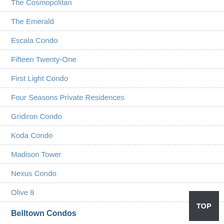The Cosmopolitan
The Emerald
Escala Condo
Fifteen Twenty-One
First Light Condo
Four Seasons Private Residences
Gridiron Condo
Koda Condo
Madison Tower
Nexus Condo
Olive 8
Belltown Condos
Avenue One